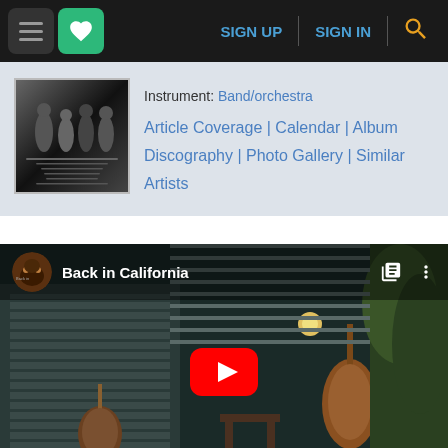SIGN UP | SIGN IN
[Figure (screenshot): Album cover thumbnail - black and white photo of musicians]
Instrument: Band/orchestra
Article Coverage | Calendar | Album Discography | Photo Gallery | Similar Artists
[Figure (screenshot): YouTube video embed showing 'Back in California' with musical instruments in background and YouTube play button overlay]